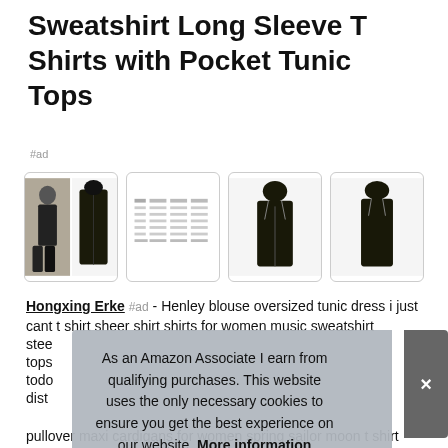Sweatshirt Long Sleeve T Shirts with Pocket Tunic Tops
#ad
[Figure (photo): Four product images in a row: first shows a person wearing a dark long hoodie zip-up coat, second shows a size/color chart table image, third shows a dark long hoodie coat (product shot, front open), fourth shows a dark long hoodie coat (product shot, front closed)]
Hongxing Erke #ad - Henley blouse oversized tunic dress i just cant t shirt sheer shirt shirts for women music sweatshirt steel tops today dist pullover maxi cardigans for women spring sailor moon t shirt
As an Amazon Associate I earn from qualifying purchases. This website uses the only necessary cookies to ensure you get the best experience on our website. More information